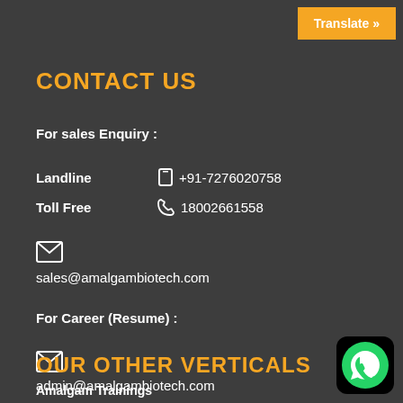Translate »
CONTACT US
For sales Enquiry :
Landline   +91-7276020758
Toll Free   18002661558
[Figure (illustration): Envelope icon]
sales@amalgambiotech.com
For Career (Resume) :
[Figure (illustration): Envelope icon]
admin@amalgambiotech.com
OUR OTHER VERTICALS
Amalgam Trainings
[Figure (logo): WhatsApp icon button]